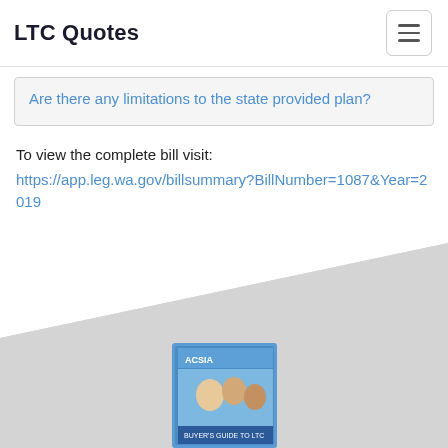LTC Quotes
Are there any limitations to the state provided plan?
To view the complete bill visit:
https://app.leg.wa.gov/billsummary?BillNumber=1087&Year=2019
[Figure (photo): Diagonal gray background section at the bottom of the page with a partially visible book/brochure image (ACSIA brand) at the bottom center]